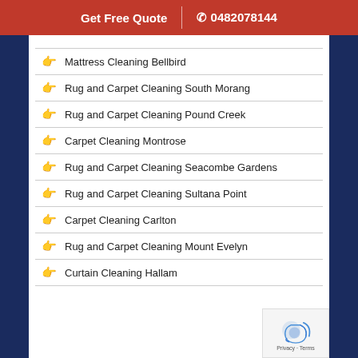Get Free Quote | 0482078144
Mattress Cleaning Bellbird
Rug and Carpet Cleaning South Morang
Rug and Carpet Cleaning Pound Creek
Carpet Cleaning Montrose
Rug and Carpet Cleaning Seacombe Gardens
Rug and Carpet Cleaning Sultana Point
Carpet Cleaning Carlton
Rug and Carpet Cleaning Mount Evelyn
Curtain Cleaning Hallam